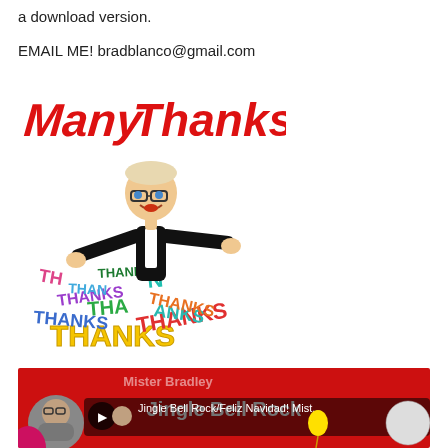a download version.
EMAIL ME! bradblanco@gmail.com
[Figure (illustration): Bitmoji character in black suit with arms outstretched standing above colorful 3D 'THANKS' text blocks, with 'Many Thanks!' in red bold text above]
[Figure (screenshot): YouTube video thumbnail for 'Jingle Bell Rock/Feliz Navidad! Mist...' by Mister Bradley, showing red background with balloons and a cartoon character, with channel avatar in bottom left corner]